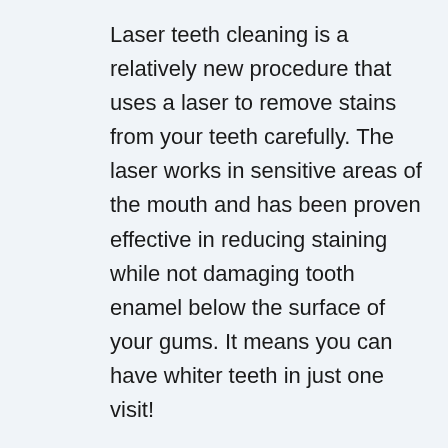Laser teeth cleaning is a relatively new procedure that uses a laser to remove stains from your teeth carefully. The laser works in sensitive areas of the mouth and has been proven effective in reducing staining while not damaging tooth enamel below the surface of your gums. It means you can have whiter teeth in just one visit!
4. Use porcelain crowns to improve your smile's appearance. Porcelain crowns are an excellent method for improving the look of your teeth and jawbone. They will give you the brighter, more natural look you crave without worrying about plaque buildup, gum disease, or other issues. It is a highly effective way to improve the look of your smile, and it's